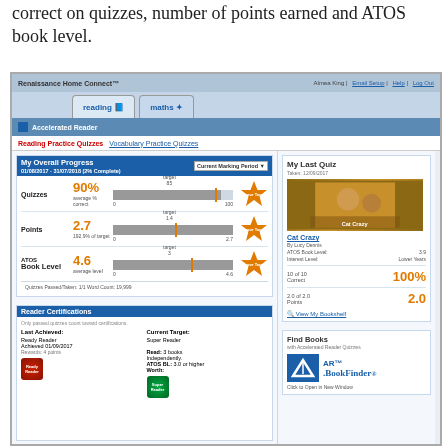correct on quizzes, number of points earned and ATOS book level.
[Figure (screenshot): Renaissance Home Connect screenshot showing Accelerated Reader dashboard with My Overall Progress (Quizzes 90%, Points 2.7, ATOS Book Level 4.6), Reader Certifications section, My Last Quiz (Cat Crazy, 100% correct, 2.0 points), and Find Books / AR BookFinder panel.]